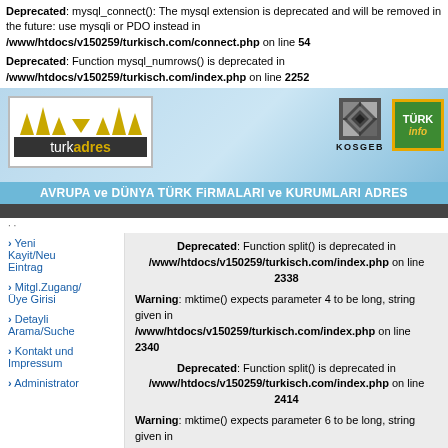Deprecated: mysql_connect(): The mysql extension is deprecated and will be removed in the future: use mysqli or PDO instead in /www/htdocs/v150259/turkisch.com/connect.php on line 54
Deprecated: Function mysql_numrows() is deprecated in /www/htdocs/v150259/turkisch.com/index.php on line 2252
[Figure (screenshot): turkadres website banner with KOSGEB and TURKinfo logos, subtitle: AVRUPA ve DÜNYA TÜRK FiRMALARI ve KURUMLARI ADRES]
· ·
› Yeni Kayit/Neu Eintrag
› Mitgl.Zugang/ Üye Girisi
› Detayli Arama/Suche
› Kontakt und Impressum
› Administrator
Deprecated: Function split() is deprecated in /www/htdocs/v150259/turkisch.com/index.php on line 2338
Warning: mktime() expects parameter 4 to be long, string given in /www/htdocs/v150259/turkisch.com/index.php on line 2340
Deprecated: Function split() is deprecated in /www/htdocs/v150259/turkisch.com/index.php on line 2414
Warning: mktime() expects parameter 6 to be long, string given in /www/htdocs/v150259/turkisch.com/index.php on line 2416
Deprecated: Function split() is deprecated in /www/htdocs/v150259/turkisch.com/index.php on line 2338
Warning: mktime() expects parameter 4 to be long, string given in